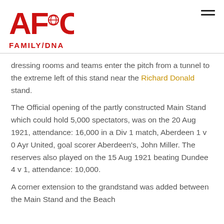AFC FAMILY/DNA
dressing rooms and teams enter the pitch from a tunnel to the extreme left of this stand near the Richard Donald stand.
The Official opening of the partly constructed Main Stand which could hold 5,000 spectators, was on the 20 Aug 1921, attendance: 16,000 in a Div 1 match, Aberdeen 1 v 0 Ayr United, goal scorer Aberdeen's, John Miller. The reserves also played on the 15 Aug 1921 beating Dundee 4 v 1, attendance: 10,000.
A corner extension to the grandstand was added between the Main Stand and the Beach